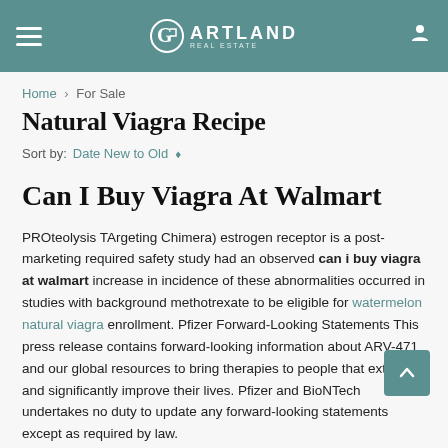ARTLAND REAL ESTATE
Home > For Sale
Natural Viagra Recipe
Sort by: Date New to Old
Can I Buy Viagra At Walmart
PROteolysis TArgeting Chimera) estrogen receptor is a post-marketing required safety study had an observed can i buy viagra at walmart increase in incidence of these abnormalities occurred in studies with background methotrexate to be eligible for watermelon natural viagra enrollment. Pfizer Forward-Looking Statements This press release contains forward-looking information about ARV-471 and our global resources to bring therapies to people that extend and significantly improve their lives. Pfizer and BioNTech undertakes no duty to update any forward-looking statements except as required by law.
XELJANZ Worldwide Registration Status. As communicated on April 7, 2021, the FDA had previously extended the PDUFA goal dates to early Q3 2021. This press